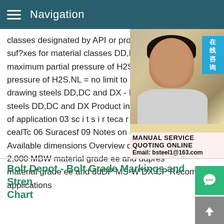Navigation
classes designated by API or project requi suf?xes for material classes DD,EE and F maximum partial pressure of H2S.1,5 = 1. pressure of H2S.NL = no limit to H2S.Face drawing steels DD,DC and DX - Product in steels DD,DC and DX Product information of application 03 sc i t s i r teca r ahc l a i M cealTc 06 Suracesf 09 Notes on applicatio Available dimensions Overview of steel gr 2,000 MBW material grade ee and ddpres material grade ee and ddDP MS-W DX CP Recommended applications
[Figure (photo): Customer service representative woman wearing headset with Chinese online consultation badge and service contact information overlay showing MANUAL SERVICE, QUOTING ONLINE, Email: bsteel1@163.com]
Bolt Depot - Bolt Grade Markings and Strength Chart
Grade and Material Nominal Size Range (inches) Mechanical